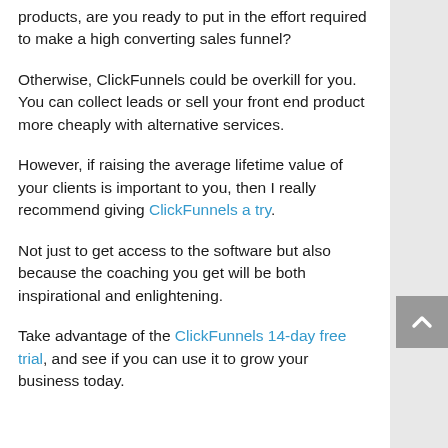products, are you ready to put in the effort required to make a high converting sales funnel?
Otherwise, ClickFunnels could be overkill for you. You can collect leads or sell your front end product more cheaply with alternative services.
However, if raising the average lifetime value of your clients is important to you, then I really recommend giving ClickFunnels a try.
Not just to get access to the software but also because the coaching you get will be both inspirational and enlightening.
Take advantage of the ClickFunnels 14-day free trial, and see if you can use it to grow your business today.